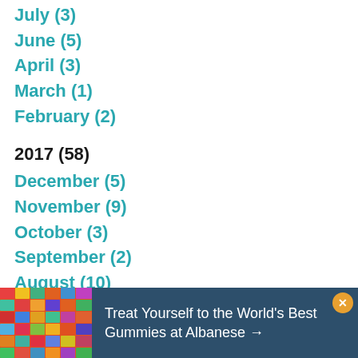July (3)
June (5)
April (3)
March (1)
February (2)
2017 (58)
December (5)
November (9)
October (3)
September (2)
August (10)
July (2)
June (6)
May (4)
[Figure (infographic): Advertisement banner: colorful gummy candy image on left, dark blue background with text 'Treat Yourself to the World's Best Gummies at Albanese →' on right, orange close button top right.]